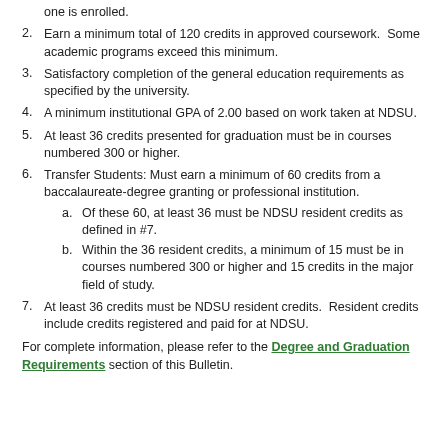one is enrolled.
2. Earn a minimum total of 120 credits in approved coursework. Some academic programs exceed this minimum.
3. Satisfactory completion of the general education requirements as specified by the university.
4. A minimum institutional GPA of 2.00 based on work taken at NDSU.
5. At least 36 credits presented for graduation must be in courses numbered 300 or higher.
6. Transfer Students: Must earn a minimum of 60 credits from a baccalaureate-degree granting or professional institution.
  a. Of these 60, at least 36 must be NDSU resident credits as defined in #7.
  b. Within the 36 resident credits, a minimum of 15 must be in courses numbered 300 or higher and 15 credits in the major field of study.
7. At least 36 credits must be NDSU resident credits. Resident credits include credits registered and paid for at NDSU.
For complete information, please refer to the Degree and Graduation Requirements section of this Bulletin.